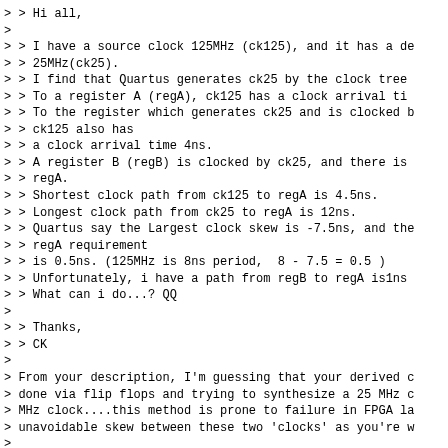> > Hi all,
>
> > I have a source clock 125MHz (ck125), and it has a de
> > 25MHz(ck25).
> > I find that Quartus generates ck25 by the clock tree
> > To a register A (regA), ck125 has a clock arrival ti
> > To the register which generates ck25 and is clocked b
> > ck125 also has
> > a clock arrival time 4ns.
> > A register B (regB) is clocked by ck25, and there is
> > regA.
> > Shortest clock path from ck125 to regA is 4.5ns.
> > Longest clock path from ck25 to regA is 12ns.
> > Quartus say the Largest clock skew is -7.5ns, and the
> > regA requirement
> > is 0.5ns. (125MHz is 8ns period,  8 - 7.5 = 0.5 )
> > Unfortunately, i have a path from regB to regA is1ns
> > What can i do...? QQ
>
> > Thanks,
> > CK
>
> From your description, I'm guessing that your derived c
> done via flip flops and trying to synthesize a 25 MHz c
> MHz clock....this method is prone to failure in FPGA la
> unavoidable skew between these two 'clocks' as you're w
>
> The much better approach is to simply clock everything
> MHz clock and use ck25 as a clock enable.
>